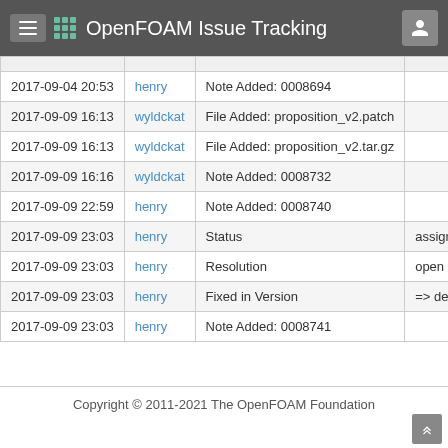OpenFOAM Issue Tracking
| Date | User | Change | Detail |
| --- | --- | --- | --- |
| 2017-09-04 20:53 | henry | Note Added: 0008694 |  |
| 2017-09-09 16:13 | wyldckat | File Added: proposition_v2.patch |  |
| 2017-09-09 16:13 | wyldckat | File Added: proposition_v2.tar.gz |  |
| 2017-09-09 16:16 | wyldckat | Note Added: 0008732 |  |
| 2017-09-09 22:59 | henry | Note Added: 0008740 |  |
| 2017-09-09 23:03 | henry | Status | assigned => reso |
| 2017-09-09 23:03 | henry | Resolution | open => fixed |
| 2017-09-09 23:03 | henry | Fixed in Version | => dev |
| 2017-09-09 23:03 | henry | Note Added: 0008741 |  |
Copyright © 2011-2021 The OpenFOAM Foundation